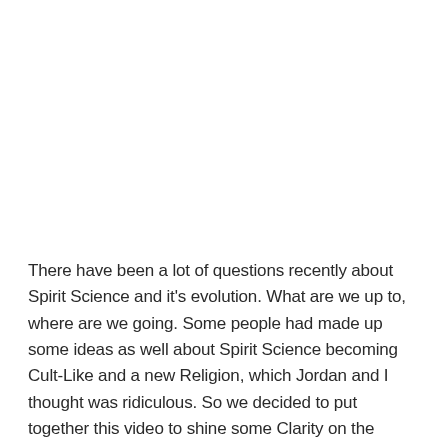There have been a lot of questions recently about Spirit Science and it's evolution. What are we up to, where are we going. Some people had made up some ideas as well about Spirit Science becoming Cult-Like and a new Religion, which Jordan and I thought was ridiculous. So we decided to put together this video to shine some Clarity on the matter.